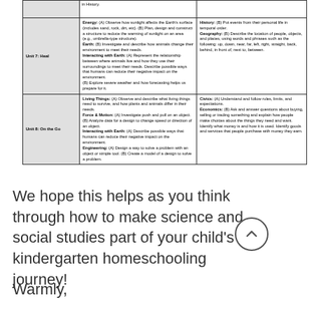| Unit | Science | Social Studies |
| --- | --- | --- |
| Unit 7: Heal | Energy: (A) Observe how sunlight affects the Earth's surface (includes sand, rock, dirt, etc). (B) Plan, design and construct a structure to reduce the warming of sunlight on an area (e.g., umbrella-type structure). Earth: (B) Investigate and describe how animals change their environment to meet their needs. Interacting with Earth: (A) Represent the relationship between where animals live and how they use their surroundings to meet their needs. Describe possible ways that humans can reduce their negative impact on the environment. (B) Explore severe weather and how forecasting helps us prepare for it. | History: (B) Put events from their personal life in temporal order. Geography: (B) Describe the location of people, objects, and places, using words and phrases such as the following: up, down, near, far, left, right, straight, back, behind, in front of, next to, between. |
| Unit 8: On the Go | Living Things: (A) Observe and describe what living things need to survive, and how plants and animals differ in their needs. Force & Motion: (A) Investigate push and pull on an object. (B) Analyze data for a design to change speed or direction of an object. Interacting with Earth: (A) Describe possible ways that humans can reduce their negative impact on the environment. Engineering: (A) Design a way to solve a problem with an object or simple tool. (B) Create a model of a design to solve a problem. | Civics: (A) Understand and follow rules, limits, and expectations. Economics: (B) Ask and answer questions about buying, selling or trading something and explain how people make choices about the things they need and want. Identify what money is and how it is used. Identify goods and services that people purchase with money they earn. |
We hope this helps as you think through how to make science and social studies part of your child's kindergarten homeschooling journey!
Warmly,